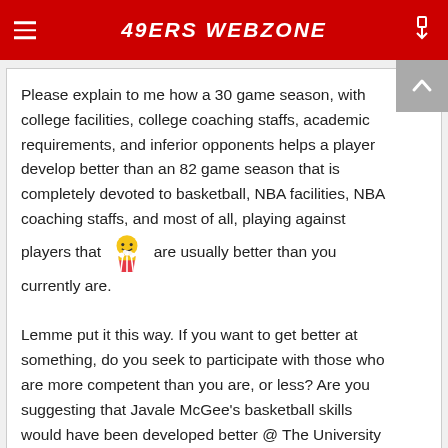49ERS WEBZONE
Please explain to me how a 30 game season, with college facilities, college coaching staffs, academic requirements, and inferior opponents helps a player develop better than an 82 game season that is completely devoted to basketball, NBA facilities, NBA coaching staffs, and most of all, playing against players that are usually better than you currently are. [popcorn emoji]

Lemme put it this way. If you want to get better at something, do you seek to participate with those who are more competent than you are, or less? Are you suggesting that Javale McGee's basketball skills would have been developed better @ The University of Nevada, under the tutelage of David Carter, while playing against Boise State University and battling against Malik Cook in practice? [smile emoji]
I'm just into the idea of polished products coming straight into the NBA, instead of drafting "projects" for their "potential". The number